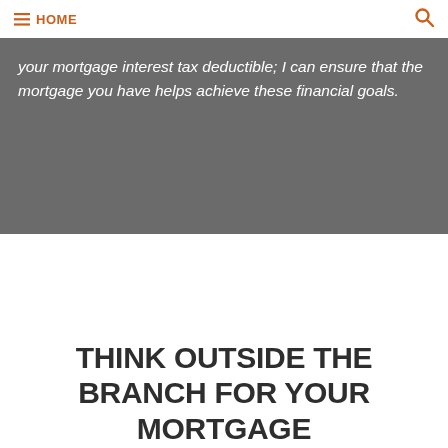HOME
your mortgage interest tax deductible; I can ensure that the mortgage you have helps achieve these financial goals.
THINK OUTSIDE THE BRANCH FOR YOUR MORTGAGE